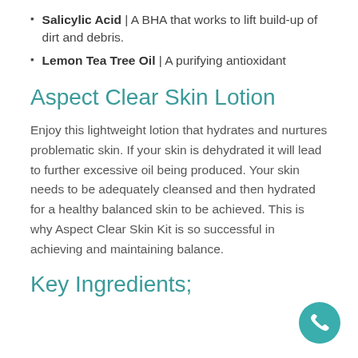Salicylic Acid | A BHA that works to lift build-up of dirt and debris.
Lemon Tea Tree Oil | A purifying antioxidant
Aspect Clear Skin Lotion
Enjoy this lightweight lotion that hydrates and nurtures problematic skin. If your skin is dehydrated it will lead to further excessive oil being produced. Your skin needs to be adequately cleansed and then hydrated for a healthy balanced skin to be achieved. This is why Aspect Clear Skin Kit is so successful in achieving and maintaining balance.
Key Ingredients;